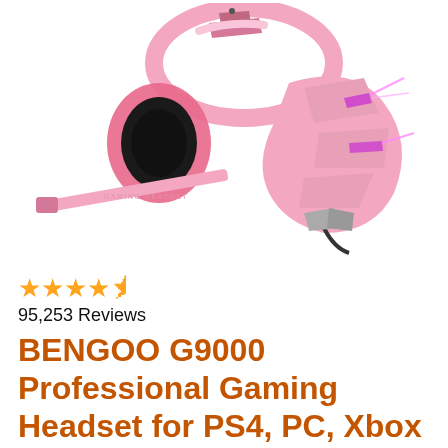[Figure (photo): Pink BENGOO G9000 gaming headset with black ear cups, illuminated LED lights (pink/purple), and an extended microphone boom arm. The headset is shown at an angle against a white background.]
★★★★½ 95,253 Reviews
BENGOO G9000 Professional Gaming Headset for PS4, PC, Xbox One Controller,